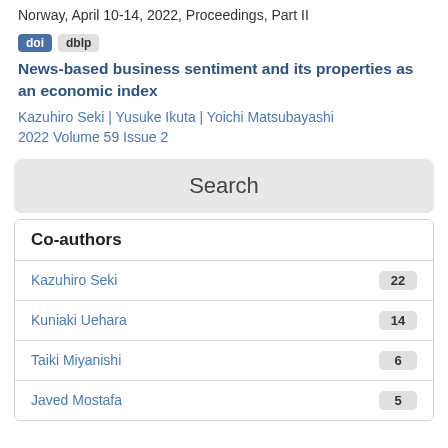Norway, April 10-14, 2022, Proceedings, Part II
doi | dblp
News-based business sentiment and its properties as an economic index
Kazuhiro Seki | Yusuke Ikuta | Yoichi Matsubayashi
2022 Volume 59 Issue 2
[Figure (other): Search button UI element]
Co-authors
Kazuhiro Seki  22
Kuniaki Uehara  14
Taiki Miyanishi  6
Javed Mostafa  5